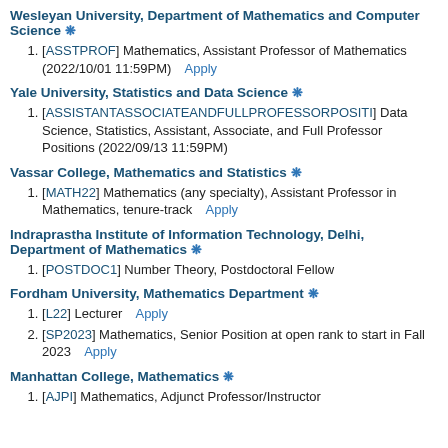Wesleyan University, Department of Mathematics and Computer Science ❋
[ASSTPROF] Mathematics, Assistant Professor of Mathematics (2022/10/01 11:59PM) Apply
Yale University, Statistics and Data Science ❋
[ASSISTANTASSOCIATEANDFULLPROFESSORPOSITI] Data Science, Statistics, Assistant, Associate, and Full Professor Positions (2022/09/13 11:59PM)
Vassar College, Mathematics and Statistics ❋
[MATH22] Mathematics (any specialty), Assistant Professor in Mathematics, tenure-track Apply
Indraprastha Institute of Information Technology, Delhi, Department of Mathematics ❋
[POSTDOC1] Number Theory, Postdoctoral Fellow
Fordham University, Mathematics Department ❋
[L22] Lecturer Apply
[SP2023] Mathematics, Senior Position at open rank to start in Fall 2023 Apply
Manhattan College, Mathematics ❋
[AJPI] Mathematics, Adjunct Professor/Instructor